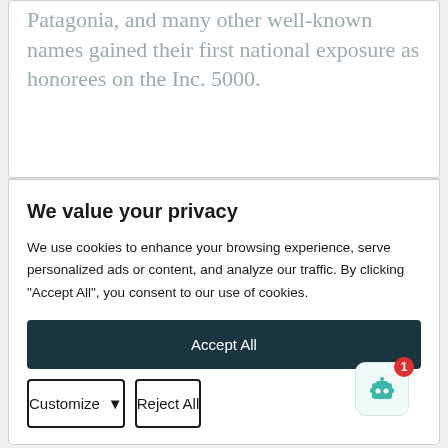Patagonia, and many other well-known names gained their first national exposure as honorees on the Inc. 5000.
We value your privacy
We use cookies to enhance your browsing experience, serve personalized ads or content, and analyze our traffic. By clicking "Accept All", you consent to our use of cookies.
Accept All
Customize
Reject All